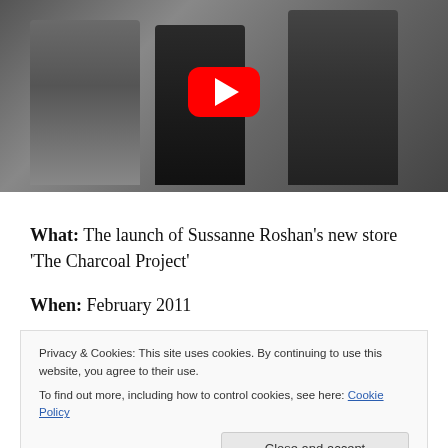[Figure (photo): Photo of three people posing together at an event, with a YouTube play button overlay in the center. Left person wears a grey henley, center person wears black, right person wears a plaid jacket.]
What: The launch of Sussanne Roshan's new store 'The Charcoal Project'
When: February 2011
Privacy & Cookies: This site uses cookies. By continuing to use this website, you agree to their use.
To find out more, including how to control cookies, see here: Cookie Policy
Shetty, Raj Kundra, Gauri Khan, Karan Johar, Twinkle